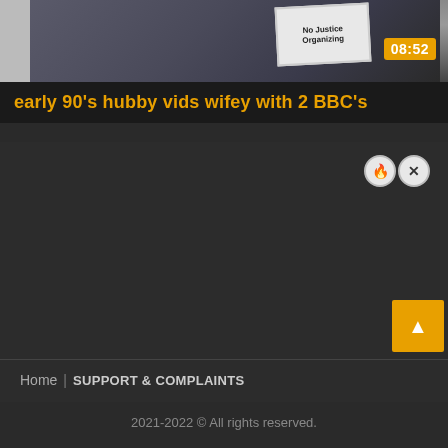[Figure (screenshot): Video thumbnail showing a person in dark clothing holding a sign, with a timestamp overlay of 08:52 in orange in the top right corner]
early 90's hubby vids wifey with 2 BBC's
Home  SUPPORT & COMPLAINTS
2021-2022 © All rights reserved.